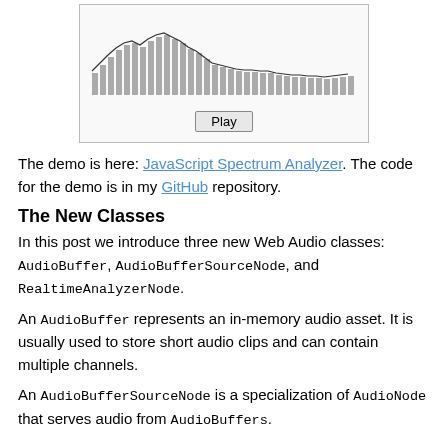[Figure (screenshot): Screenshot of a JavaScript Spectrum Analyzer demo showing frequency bar chart visualization and a Play button]
The demo is here: JavaScript Spectrum Analyzer. The code for the demo is in my GitHub repository.
The New Classes
In this post we introduce three new Web Audio classes: AudioBuffer, AudioBufferSourceNode, and RealtimeAnalyzerNode.
An AudioBuffer represents an in-memory audio asset. It is usually used to store short audio clips and can contain multiple channels.
An AudioBufferSourceNode is a specialization of AudioNode that serves audio from AudioBuffers.